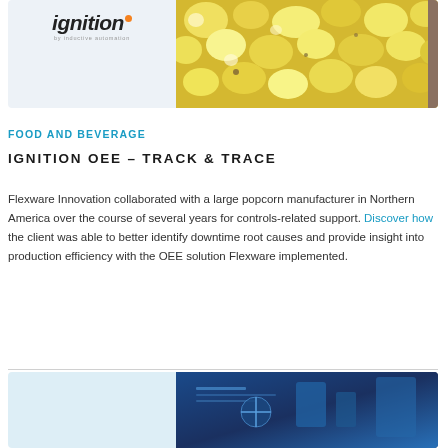[Figure (photo): Top card with Ignition logo on left (light blue-gray background) and popcorn photo on right]
FOOD AND BEVERAGE
IGNITION OEE – TRACK & TRACE
Flexware Innovation collaborated with a large popcorn manufacturer in Northern America over the course of several years for controls-related support. Discover how the client was able to better identify downtime root causes and provide insight into production efficiency with the OEE solution Flexware implemented.
[Figure (photo): Bottom card showing partial blue industrial/technology image on right half]